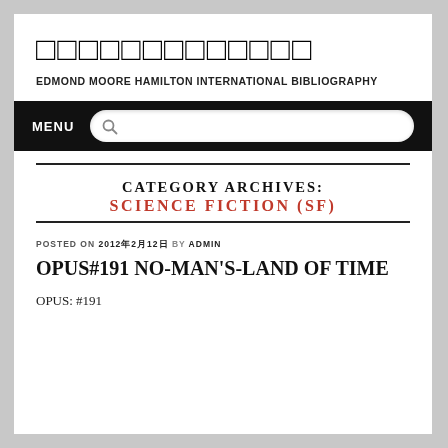□□□□□□□□□□□□□
EDMOND MOORE HAMILTON INTERNATIONAL BIBLIOGRAPHY
MENU
CATEGORY ARCHIVES: SCIENCE FICTION (SF)
POSTED ON 2012年2月12日 BY ADMIN
OPUS#191 NO-MAN'S-LAND OF TIME
OPUS: #191